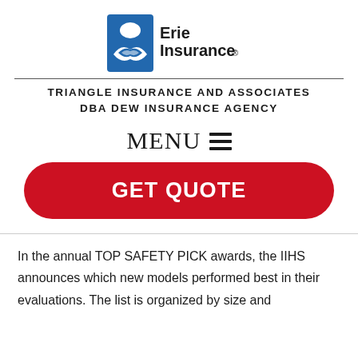[Figure (logo): Erie Insurance logo — blue shield icon with white building silhouette and hands, with 'Erie Insurance' text to the right]
TRIANGLE INSURANCE AND ASSOCIATES DBA DEW INSURANCE AGENCY
MENU ≡
GET QUOTE
In the annual TOP SAFETY PICK awards, the IIHS announces which new models performed best in their evaluations. The list is organized by size and